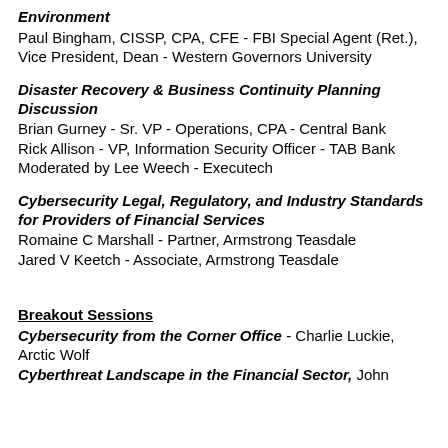Environment
Paul Bingham, CISSP, CPA, CFE - FBI Special Agent (Ret.), Vice President, Dean - Western Governors University
Disaster Recovery & Business Continuity Planning Discussion
Brian Gurney - Sr. VP - Operations, CPA - Central Bank
Rick Allison - VP, Information Security Officer - TAB Bank
Moderated by Lee Weech - Executech
Cybersecurity Legal, Regulatory, and Industry Standards for Providers of Financial Services
Romaine C Marshall - Partner, Armstrong Teasdale
Jared V Keetch - Associate, Armstrong Teasdale
Breakout Sessions
Cybersecurity from the Corner Office - Charlie Luckie, Arctic Wolf
Cyberthreat Landscape in the Financial Sector, John